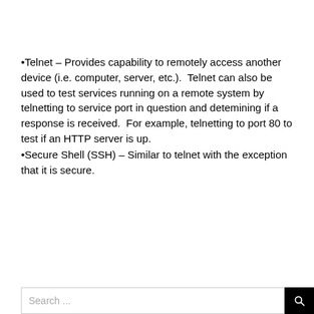•Telnet – Provides capability to remotely access another device (i.e. computer, server, etc.).  Telnet can also be used to test services running on a remote system by telnetting to service port in question and detemining if a response is received.  For example, telnetting to port 80 to test if an HTTP server is up.
•Secure Shell (SSH) – Similar to telnet with the exception that it is secure.